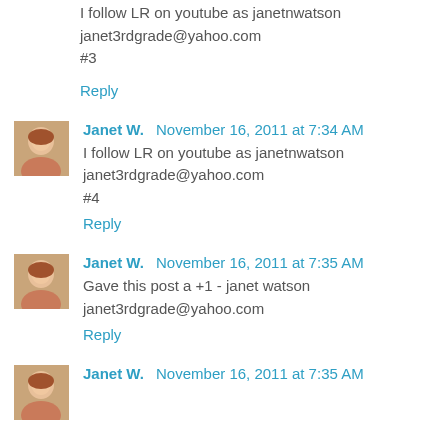I follow LR on youtube as janetnwatson
janet3rdgrade@yahoo.com
#3
Reply
Janet W.  November 16, 2011 at 7:34 AM
I follow LR on youtube as janetnwatson
janet3rdgrade@yahoo.com
#4
Reply
Janet W.  November 16, 2011 at 7:35 AM
Gave this post a +1 - janet watson
janet3rdgrade@yahoo.com
Reply
Janet W.  November 16, 2011 at 7:35 AM